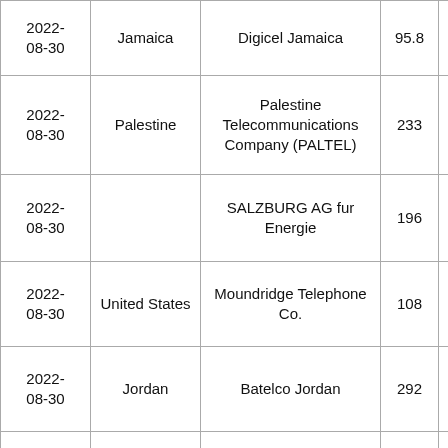| Date | Country | Company | Value |  |
| --- | --- | --- | --- | --- |
| 2022-08-30 | Jamaica | Digicel Jamaica | 95.8 |  |
| 2022-08-30 | Palestine | Palestine Telecommunications Company (PALTEL) | 233 |  |
| 2022-08-30 |  | SALZBURG AG fur Energie | 196 |  |
| 2022-08-30 | United States | Moundridge Telephone Co. | 108 |  |
| 2022-08-30 | Jordan | Batelco Jordan | 292 |  |
| 2022-08-30 | Canada | Performive LLC | 316 |  |
| 2022- | South Africa (partial) | SKVL GCIS & PA... | 351... |  |